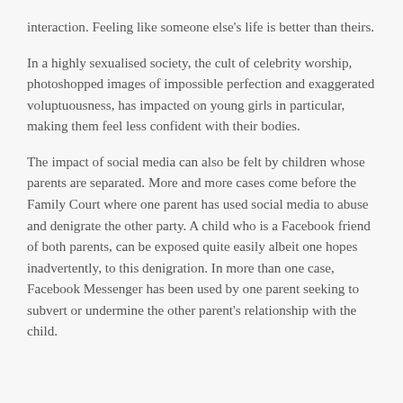interaction. Feeling like someone else's life is better than theirs.
In a highly sexualised society, the cult of celebrity worship, photoshopped images of impossible perfection and exaggerated voluptuousness, has impacted on young girls in particular, making them feel less confident with their bodies.
The impact of social media can also be felt by children whose parents are separated. More and more cases come before the Family Court where one parent has used social media to abuse and denigrate the other party. A child who is a Facebook friend of both parents, can be exposed quite easily albeit one hopes inadvertently, to this denigration. In more than one case, Facebook Messenger has been used by one parent seeking to subvert or undermine the other parent's relationship with the child.